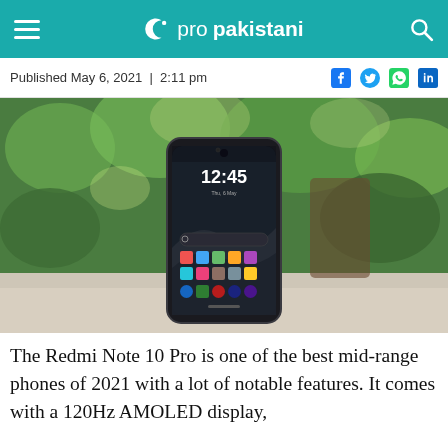propakistani
Published May 6, 2021 | 2:11 pm
[Figure (photo): Redmi Note 10 Pro smartphone displayed upright on a surface, showing home screen with time 12:45, surrounded by green foliage bokeh background.]
The Redmi Note 10 Pro is one of the best mid-range phones of 2021 with a lot of notable features. It comes with a 120Hz AMOLED display,